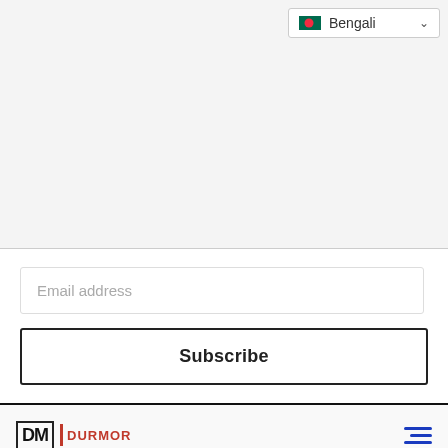[Figure (screenshot): Language selector dropdown showing Bengali with Bangladesh flag icon and a chevron arrow, on a light gray background]
[Figure (screenshot): Email address input field with placeholder text 'Email address']
[Figure (screenshot): Subscribe button with bold text 'Subscribe' inside a bordered rectangle]
[Figure (logo): PM Durmor logo with DM letters in a box, a red vertical bar, and 'DURMOR' in red text, with a blue hamburger menu icon on the right]